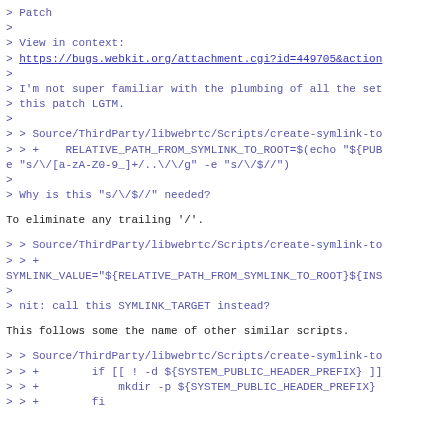> Patch
>
> View in context:
> https://bugs.webkit.org/attachment.cgi?id=449705&action
>
> I'm not super familiar with the plumbing of all the set
> this patch LGTM.
>
> > Source/ThirdParty/libwebrtc/Scripts/create-symlink-to
> > +    RELATIVE_PATH_FROM_SYMLINK_TO_ROOT=$(echo "${PUB
e "s/\/[a-zA-Z0-9_]+/..//g" -e "s/\/$//")
>
> Why is this "s/\/$//" needed?
To eliminate any trailing '/'.
> > Source/ThirdParty/libwebrtc/Scripts/create-symlink-to
> > +
SYMLINK_VALUE="${RELATIVE_PATH_FROM_SYMLINK_TO_ROOT}${INS
>
> nit: call this SYMLINK_TARGET instead?
This follows some the name of other similar scripts.
> > Source/ThirdParty/libwebrtc/Scripts/create-symlink-to
> > +        if [[ ! -d ${SYSTEM_PUBLIC_HEADER_PREFIX} ]]
> > +            mkdir -p ${SYSTEM_PUBLIC_HEADER_PREFIX}
> > +        fi